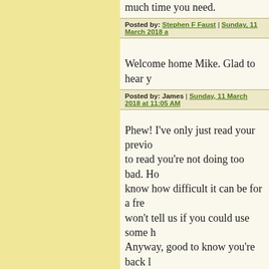much time you need.
Posted by: Stephen F Faust | Sunday, 11 March 2018 a...
Welcome home Mike. Glad to hear y...
Posted by: James | Sunday, 11 March 2018 at 11:05 AM...
Phew! I've only just read your previo... to read you're not doing too bad. Ho... know how difficult it can be for a fre... won't tell us if you could use some h... Anyway, good to know you're back l... rest.
Take care,
Thomas
Posted by: Thomas Paris | Sunday, 11 March 2018 at 1...
Welcome back intact! Had us worrie...